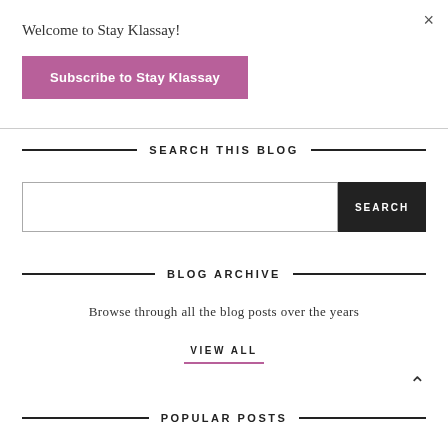×
Welcome to Stay Klassay!
Subscribe to Stay Klassay
SEARCH THIS BLOG
BLOG ARCHIVE
Browse through all the blog posts over the years
VIEW ALL
POPULAR POSTS